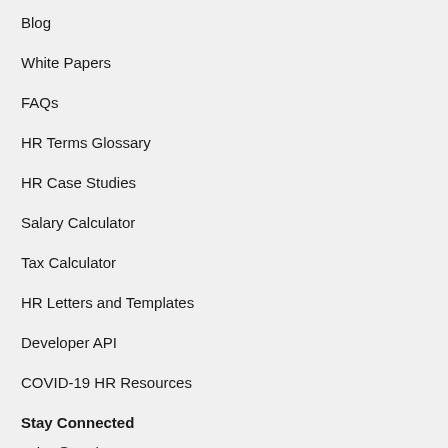Blog
White Papers
FAQs
HR Terms Glossary
HR Case Studies
Salary Calculator
Tax Calculator
HR Letters and Templates
Developer API
COVID-19 HR Resources
Stay Connected
sales@zenhr.com
[Figure (infographic): Social media icons: Facebook, Instagram, LinkedIn, YouTube, Twitter]